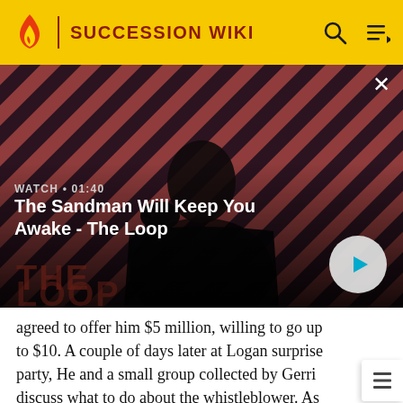SUCCESSION WIKI
[Figure (screenshot): Video thumbnail showing a dark figure with a raven on shoulder against a red and dark striped diagonal background. Text overlay reads WATCH • 01:40 and The Sandman Will Keep You Awake - The Loop. Play button visible bottom right. Close X button top right.]
agreed to offer him $5 million, willing to go up to $10. A couple of days later at Logan surprise party, He and a small group collected by Gerri discuss what to do about the whistleblower. As he had immediately declined $20 million, and it would appear he was determined to expose everyone. Shiv made the call to tell her father the next